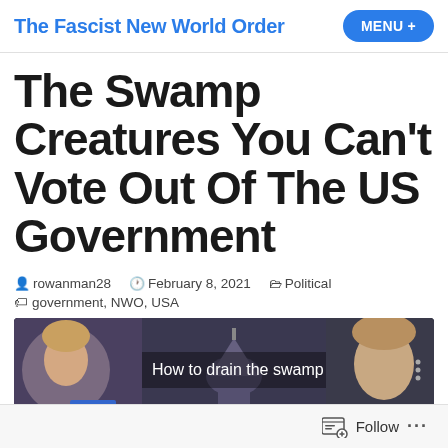The Fascist New World Order  MENU +
The Swamp Creatures You Can't Vote Out Of The US Government
rowanman28   February 8, 2021   Political
government, NWO, USA
[Figure (screenshot): Video thumbnail showing two women flanking an image of the US Capitol dome with text 'How to drain the swamp']
Follow ...